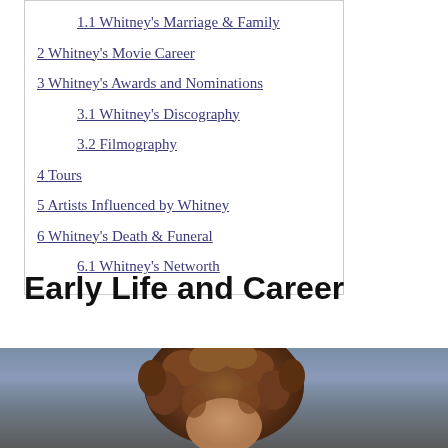1.1 Whitney's Marriage & Family
2 Whitney's Movie Career
3 Whitney's Awards and Nominations
3.1 Whitney's Discography
3.2 Filmography
4 Tours
5 Artists Influenced by Whitney
6 Whitney's Death & Funeral
6.1 Whitney's Networth
Early Life and Career
[Figure (photo): Photo of Whitney Houston with curly brown hair, partial view, against a blue-grey background]